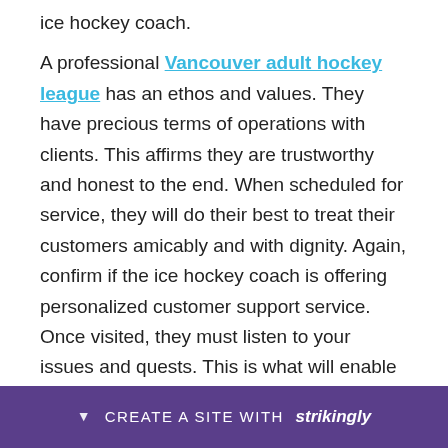ice hockey coach.
A professional Vancouver adult hockey league has an ethos and values. They have precious terms of operations with clients. This affirms they are trustworthy and honest to the end. When scheduled for service, they will do their best to treat their customers amicably and with dignity. Again, confirm if the ice hockey coach is offering personalized customer support service. Once visited, they must listen to your issues and quests. This is what will enable them to offer satisfying solutions. Prove also if the ice hockey coach has a 24/7 [obscured] d to suit [obscured]
CREATE A SITE WITH strikingly